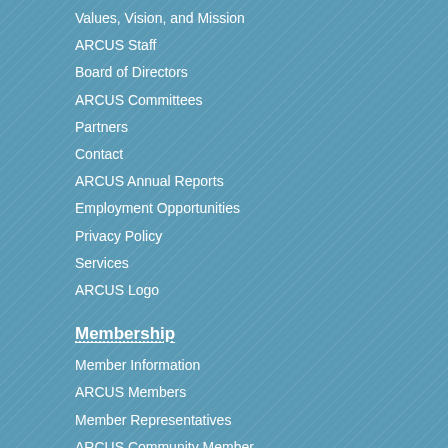Values, Vision, and Mission
ARCUS Staff
Board of Directors
ARCUS Committees
Partners
Contact
ARCUS Annual Reports
Employment Opportunities
Privacy Policy
Services
ARCUS Logo
Membership
Member Information
ARCUS Members
Member Representatives
ARCUS Community Member Profiles
Organizational Member